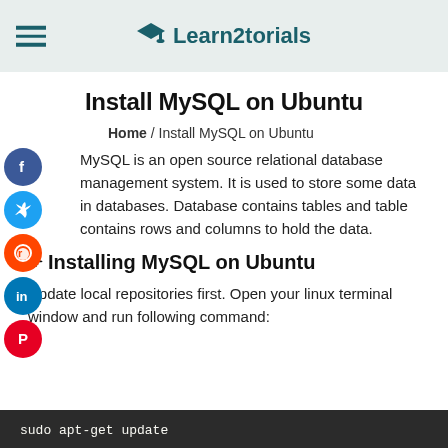Learn2torials
Install MySQL on Ubuntu
Home / Install MySQL on Ubuntu
[Figure (illustration): Social media share icons: Facebook (blue), Twitter (light blue), Reddit (orange), LinkedIn (blue), Pinterest (red) arranged vertically on the left side]
MySQL is an open source relational database management system. It is used to store some data in databases. Database contains tables and table contains rows and columns to hold the data.
Installing MySQL on Ubuntu
Update local repositories first. Open your linux terminal window and run following command:
sudo apt-get update